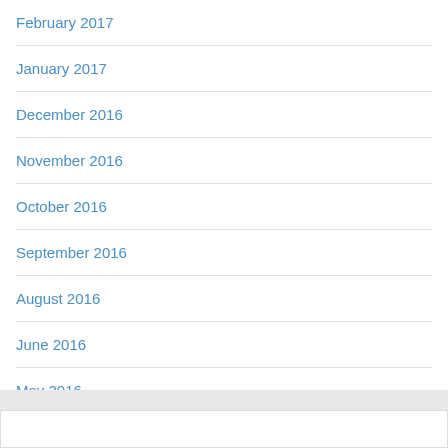February 2017
January 2017
December 2016
November 2016
October 2016
September 2016
August 2016
June 2016
May 2016
April 2016